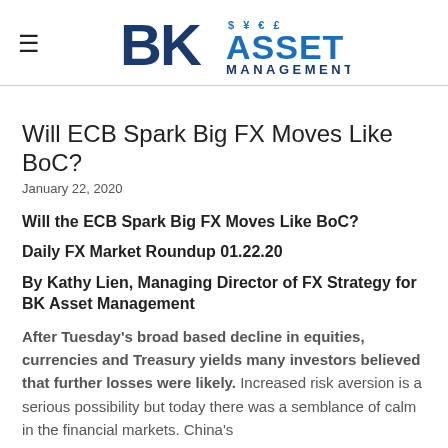BK Asset Management
Will ECB Spark Big FX Moves Like BoC?
January 22, 2020
Will the ECB Spark Big FX Moves Like BoC?
Daily FX Market Roundup 01.22.20
By Kathy Lien, Managing Director of FX Strategy for BK Asset Management
After Tuesday's broad based decline in equities, currencies and Treasury yields many investors believed that further losses were likely. Increased risk aversion is a serious possibility but today there was a semblance of calm in the financial markets. China's